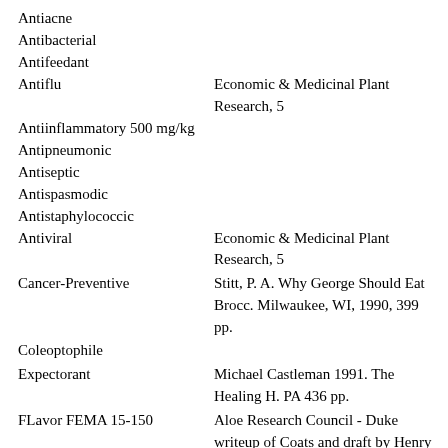Antiacne
Antibacterial
Antifeedant
Antiflu
Antiinflammatory 500 mg/kg
Antipneumonic
Antiseptic
Antispasmodic
Antistaphylococcic
Antiviral
Cancer-Preventive
Coleoptophile
Expectorant
FLavor FEMA 15-150
Herbicide IC50=30 uM